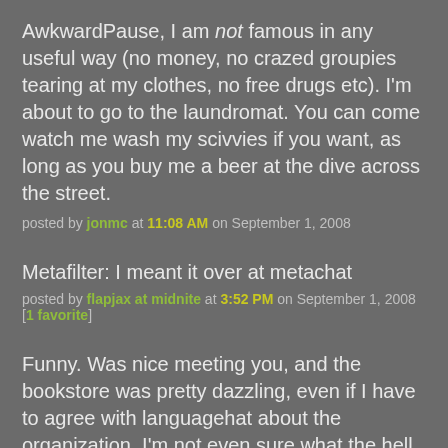AwkwardPause, I am not famous in any useful way (no money, no crazed groupies tearing at my clothes, no free drugs etc). I'm about to go to the laundromat. You can come watch me wash my scivvies if you want, as long as you buy me a beer at the dive across the street.
posted by jonmc at 11:08 AM on September 1, 2008
Metafilter: I meant it over at metachat
posted by flapjax at midnite at 3:52 PM on September 1, 2008 [1 favorite]
Funny. Was nice meeting you, and the bookstore was pretty dazzling, even if I have to agree with languagehat about the organization. I'm not even sure what the hell theme the shelf I was looking at when I happened to turn and see you there had.